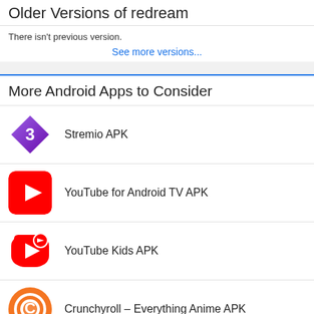Older Versions of redream
There isn't previous version.
See more versions...
More Android Apps to Consider
Stremio APK
YouTube for Android TV APK
YouTube Kids APK
Crunchyroll – Everything Anime APK
ZEPETO APK